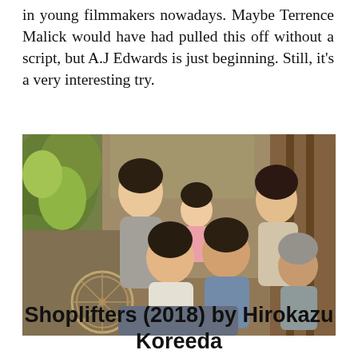in young filmmakers nowadays. Maybe Terrence Malick would have had pulled this off without a script, but A.J Edwards is just beginning. Still, it's a very interesting try.
[Figure (photo): A group photo of six people — a multigenerational Japanese family — posing together outside a rustic, weathered building. A tall young woman stands at the left smiling, a young girl peeks from behind her, a woman with short dark hair smiles at the right, and in the foreground a young woman, a middle-aged laughing man, and an elderly woman are seated or crouching. Lush green plants and a bicycle wheel are visible at the left.]
Shoplifters (2018) by Hirokazu Koreeda